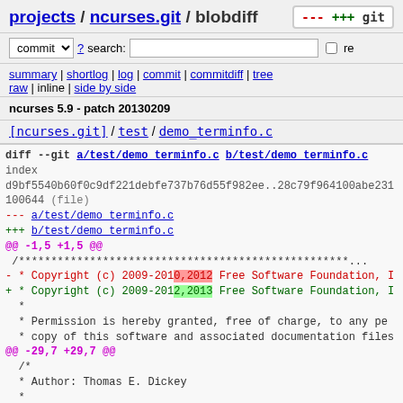projects / ncurses.git / blobdiff
commit ? search: re
summary | shortlog | log | commit | commitdiff | tree
raw | inline | side by side
ncurses 5.9 - patch 20130209
[ncurses.git] / test / demo_terminfo.c
diff --git a/test/demo_terminfo.c b/test/demo_terminfo.c
index
d9bf5540b60f0c9df221debfe737b76d55f982ee..28c79f964100abe231
100644 (file)
--- a/test/demo_terminfo.c
+++ b/test/demo_terminfo.c
@@ -1,5 +1,5 @@
 /****...
- * Copyright (c) 2009-2010,2012 Free Software Foundation, I
+ * Copyright (c) 2009-2012,2013 Free Software Foundation, I
  *
  * Permission is hereby granted, free of charge, to any pe
  * copy of this software and associated documentation files
@@ -29,7 +29,7 @@
 /*
  * Author: Thomas E. Dickey
  *